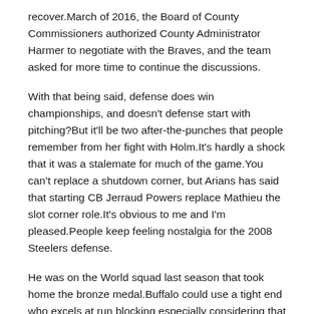recover.March of 2016, the Board of County Commissioners authorized County Administrator Harmer to negotiate with the Braves, and the team asked for more time to continue the discussions.
With that being said, defense does win championships, and doesn't defense start with pitching?But it'll be two after-the-punches that people remember from her fight with Holm.It's hardly a shock that it was a stalemate for much of the game.You can't replace a shutdown corner, but Arians has said that starting CB Jerraud Powers replace Mathieu the slot corner role.It's obvious to me and I'm pleased.People keep feeling nostalgia for the 2008 Steelers defense.
He was on the World squad last season that took home the bronze medal.Buffalo could use a tight end who excels at run blocking especially considering that Greg and Rex are both on the record as saying they want to have a and pound style of offense.And Kauffman Stadium isn't the easiest place to do